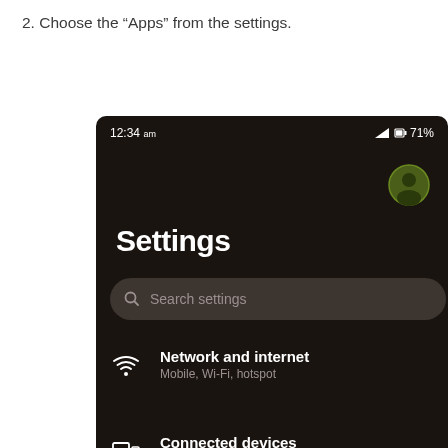2. Choose the "Apps" from the settings.
[Figure (screenshot): Android Settings screen showing dark mode UI with status bar showing 12:34 am and 71% battery, a user profile icon, Settings title, search bar with 'Search settings' placeholder, and menu items: 'Network and internet' (Mobile, Wi-Fi, hotspot) and 'Connected devices' (Bluetooth, pairing).]